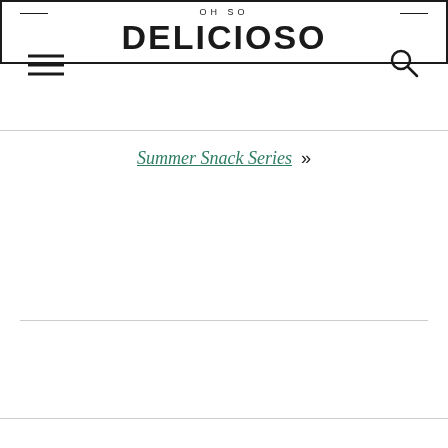OH SO DELICIOSO
Summer Snack Series »